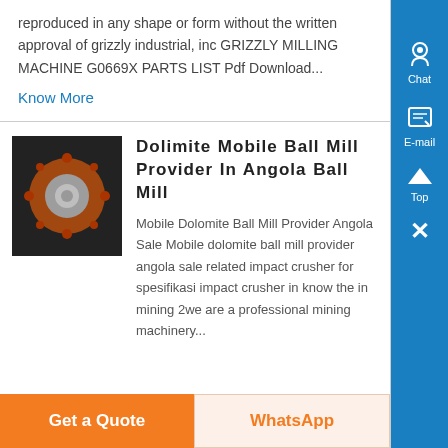reproduced in any shape or form without the written approval of grizzly industrial, inc GRIZZLY MILLING MACHINE G0669X PARTS LIST Pdf Download...
Know More
Dolimite Mobile Ball Mill Provider In Angola Ball Mill
[Figure (photo): Photo of a ball mill component showing orange and mechanical parts on a dark metal surface]
Mobile Dolomite Ball Mill Provider Angola Sale Mobile dolomite ball mill provider angola sale related impact crusher for spesifikasi impact crusher in know the in mining 2we are a professional mining machinery...